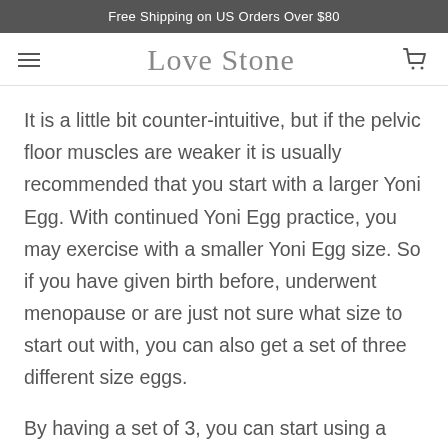Free Shipping on US Orders Over $80
Love Stone
It is a little bit counter-intuitive, but if the pelvic floor muscles are weaker it is usually recommended that you start with a larger Yoni Egg. With continued Yoni Egg practice, you may exercise with a smaller Yoni Egg size. So if you have given birth before, underwent menopause or are just not sure what size to start out with, you can also get a set of three different size eggs.
By having a set of 3, you can start using a larger egg and slowly, as it feels right, come down in size,